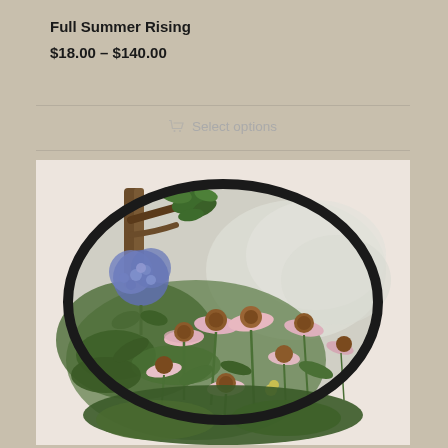Full Summer Rising
$18.00 – $140.00
Select options
[Figure (photo): An oval-framed botanical painting showing pink and white coneflowers (Echinacea) and blue hydrangeas in a garden setting with a misty, soft background. A tree trunk is visible in the upper left area. The oval frame has a thick black border. The background of the card is a light pinkish-white.]